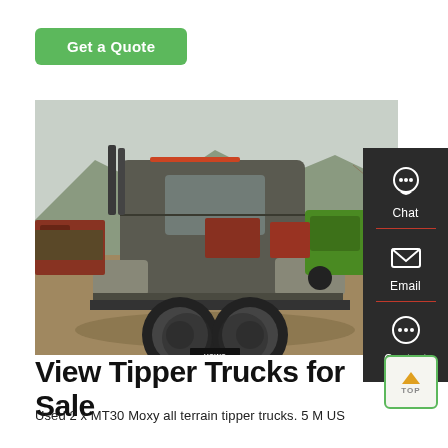Get a Quote
[Figure (photo): A HOWO truck (tractor unit) photographed from the rear-left angle in a large truck yard with mountains in the background. Other trucks including a green truck are visible in the background.]
Chat
Email
Contact
View Tipper Trucks for Sale
Used 2 x MT30 Moxy all terrain tipper trucks. 5 M US